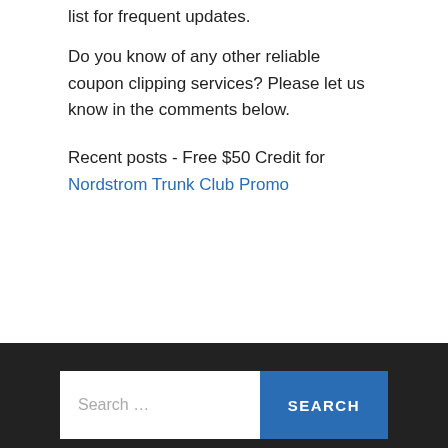list for frequent updates.
Do you know of any other reliable coupon clipping services? Please let us know in the comments below.
Recent posts - Free $50 Credit for Nordstrom Trunk Club Promo
[Figure (other): Search bar widget with text input field reading 'Search …' and a blue SEARCH button, set against a dark background section]
© 2022 TRY FREE MONEY — UP ↑